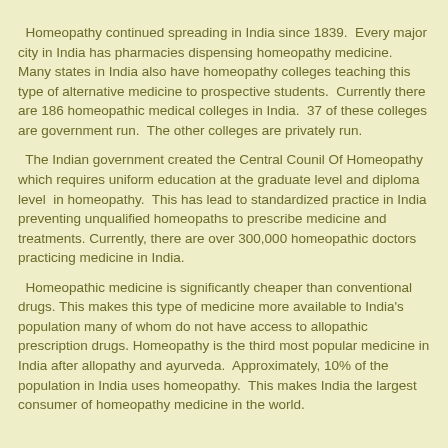…(page continued)
Homeopathy continued spreading in India since 1839. Every major city in India has pharmacies dispensing homeopathy medicine. Many states in India also have homeopathy colleges teaching this type of alternative medicine to prospective students. Currently there are 186 homeopathic medical colleges in India. 37 of these colleges are government run. The other colleges are privately run.
The Indian government created the Central Counil Of Homeopathy which requires uniform education at the graduate level and diploma level in homeopathy. This has lead to standardized practice in India preventing unqualified homeopaths to prescribe medicine and treatments. Currently, there are over 300,000 homeopathic doctors practicing medicine in India.
Homeopathic medicine is significantly cheaper than conventional drugs. This makes this type of medicine more available to India's population many of whom do not have access to allopathic prescription drugs. Homeopathy is the third most popular medicine in India after allopathy and ayurveda. Approximately, 10% of the population in India uses homeopathy. This makes India the largest consumer of homeopathy medicine in the world.